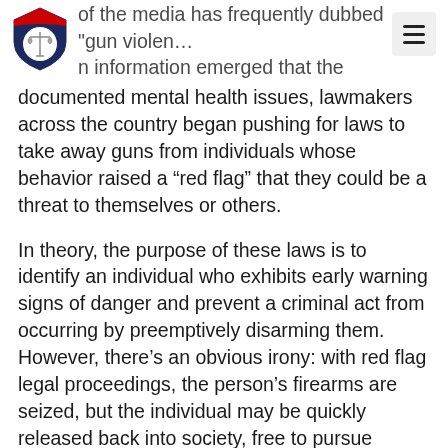...of the media has frequently dubbed "gun violence" ...when information emerged that the shooter had
documented mental health issues, lawmakers across the country began pushing for laws to take away guns from individuals whose behavior raised a “red flag” that they could be a threat to themselves or others.
In theory, the purpose of these laws is to identify an individual who exhibits early warning signs of danger and prevent a criminal act from occurring by preemptively disarming them. However, there’s an obvious irony: with red flag legal proceedings, the person’s firearms are seized, but the individual may be quickly released back into society, free to pursue whatever misdeeds they might choose to do.
Many of the states with red flag laws currently on the books allow for an enforceable court order that prevents the person from owning, purchasing,